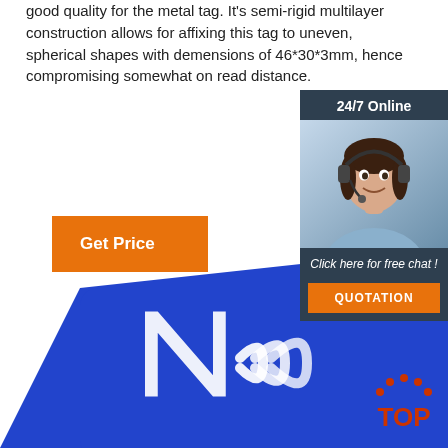good quality for the metal tag. It's semi-rigid multilayer construction allows for affixing this tag to uneven, spherical shapes with demensions of 46*30*3mm, hence compromising somewhat on read distance.
[Figure (other): Orange 'Get Price' button]
[Figure (other): 24/7 Online chat widget with customer service representative photo, 'Click here for free chat!' text, and orange 'QUOTATION' button]
[Figure (photo): Blue NFC card with NFC logo (N with wireless signal arcs) in white]
[Figure (logo): TOP logo with orange dots arranged in arc above the letters TOP in orange]